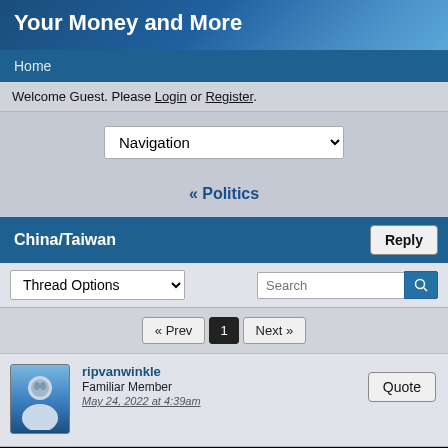Your Money and More
Home
Welcome Guest. Please Login or Register.
Navigation
« Politics
China/Taiwan
Thread Options
« Prev  1  Next »
ripvanwinkle
Familiar Member
May 24, 2022 at 4:39am